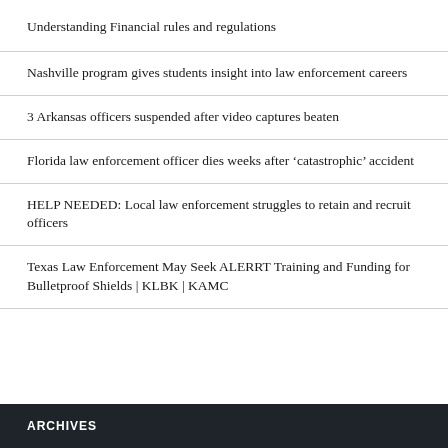Understanding Financial rules and regulations
Nashville program gives students insight into law enforcement careers
3 Arkansas officers suspended after video captures beaten
Florida law enforcement officer dies weeks after ‘catastrophic’ accident
HELP NEEDED: Local law enforcement struggles to retain and recruit officers
Texas Law Enforcement May Seek ALERRT Training and Funding for Bulletproof Shields | KLBK | KAMC
ARCHIVES